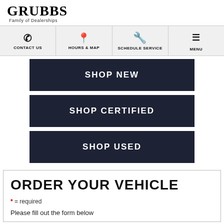GRUBBS Family of Dealerships
CONTACT US
HOURS & MAP
SCHEDULE SERVICE
MENU
SHOP NEW
SHOP CERTIFIED
SHOP USED
ORDER YOUR VEHICLE
* = required
Please fill out the form below